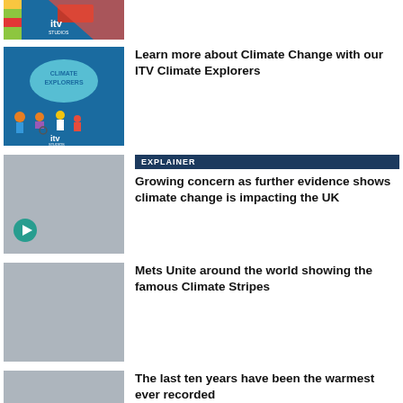[Figure (screenshot): ITV logo thumbnail partially visible at top]
[Figure (illustration): ITV Climate Explorers promotional image with cartoon people and a cloud speech bubble]
Learn more about Climate Change with our ITV Climate Explorers
[Figure (screenshot): Grey placeholder thumbnail with play button icon]
EXPLAINER
Growing concern as further evidence shows climate change is impacting the UK
[Figure (photo): Grey placeholder thumbnail]
Mets Unite around the world showing the famous Climate Stripes
[Figure (photo): Grey placeholder thumbnail]
The last ten years have been the warmest ever recorded
[Figure (photo): Grey placeholder thumbnail partially visible at bottom]